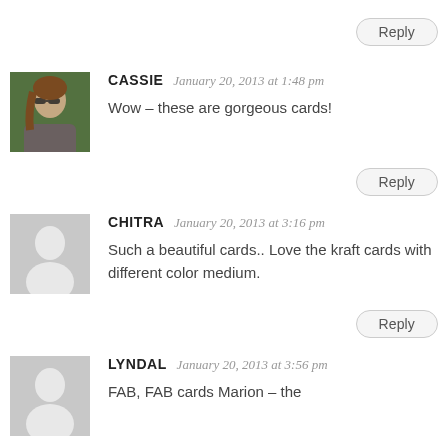Reply
[Figure (photo): Avatar photo of Cassie, a woman with brown hair and sunglasses, smiling outdoors]
CASSIE  January 20, 2013 at 1:48 pm
Wow – these are gorgeous cards!
Reply
[Figure (illustration): Generic user avatar placeholder silhouette on grey background]
CHITRA  January 20, 2013 at 3:16 pm
Such a beautiful cards.. Love the kraft cards with different color medium.
Reply
[Figure (illustration): Generic user avatar placeholder silhouette on grey background]
LYNDAL  January 20, 2013 at 3:56 pm
FAB, FAB cards Marion – the